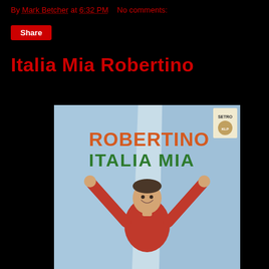By Mark Betcher at 6:32 PM   No comments:
Share
Italia Mia Robertino
[Figure (photo): Album cover for Robertino Italia Mia. A young boy in a red sweater with arms raised wide, holding open a light blue curtain/fabric. Text on cover reads ROBERTINO in red/orange letters and ITALIA MIA in green letters. Small Setro label logo in top right corner.]